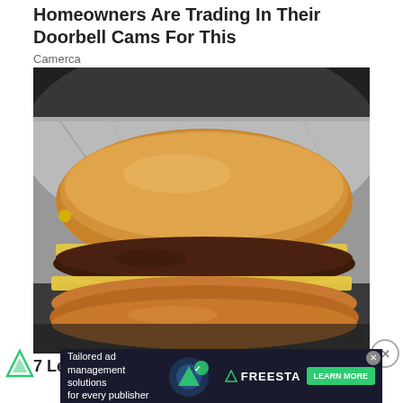Homeowners Are Trading In Their Doorbell Cams For This
Camerca
[Figure (photo): Close-up photo of a double cheeseburger with melted yellow cheese on a brioche bun, wrapped in aluminum foil, viewed from the side.]
7 Legal Discounts Seniors Only Get If They Ask
Tailored ad management solutions for every publisher — FREESTAR — LEARN MORE